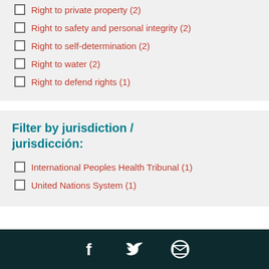Right to private property (2)
Right to safety and personal integrity (2)
Right to self-determination (2)
Right to water (2)
Right to defend rights (1)
Filter by jurisdiction / jurisdicción:
International Peoples Health Tribunal (1)
United Nations System (1)